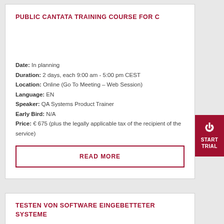PUBLIC CANTATA TRAINING COURSE FOR C
Date: In planning
Duration: 2 days, each 9:00 am - 5:00 pm CEST
Location: Online (Go To Meeting – Web Session)
Language: EN
Speaker: QA Systems Product Trainer
Early Bird: N/A
Price: € 675 (plus the legally applicable tax of the recipient of the service)
READ MORE
TESTEN VON SOFTWARE EINGEBETTETER SYSTEME